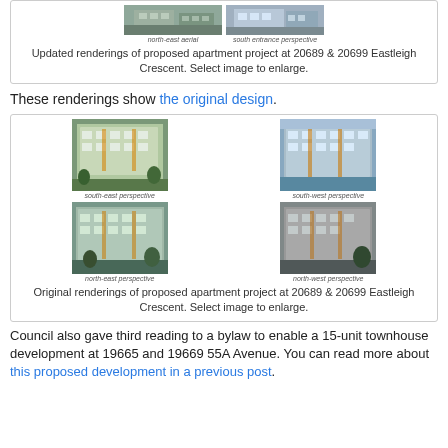[Figure (photo): Two aerial/perspective renderings of proposed apartment at 20689 & 20699 Eastleigh Crescent — north-east aerial and south entrance perspective]
Updated renderings of proposed apartment project at 20689 & 20699 Eastleigh Crescent. Select image to enlarge.
These renderings show the original design.
[Figure (photo): Four perspective renderings of original design for proposed apartment at 20689 & 20699 Eastleigh Crescent — south-east, south-west, north-east, and north-west perspectives]
Original renderings of proposed apartment project at 20689 & 20699 Eastleigh Crescent. Select image to enlarge.
Council also gave third reading to a bylaw to enable a 15-unit townhouse development at 19665 and 19669 55A Avenue. You can read more about this proposed development in a previous post.